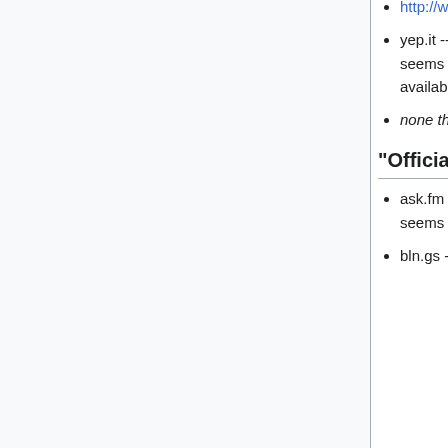http://www.youtube.com/watch?v=7458qm (as such, not relevant to URLTeam)
yep.it -- allows custom shortcodes; validates provided URL; example: http://yep.it/bgnhpu ; seems non-incremental, only lowercase letters; appears to make the whole database available via: http://yep.it/stat.php?page=5719 (as of 20:08, 7 November 2015 (EST))
none that start with z yet.
"Official" shorteners
ask.fm - Ex: http://ask.fm/a/40k05kgp -> http://ask.fm/Q7Niki/answer/42128504404 ; seems non-incremental
bln.gs - Blingee (format: bln.gs/b/28fss0 and bln.gs/b/1)